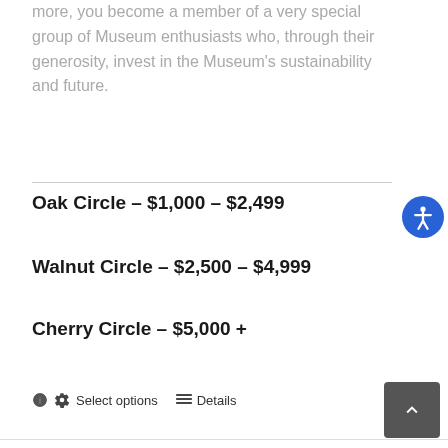more, you become a member of a very special group of Museum enthusiasts who, through their generosity, invest in the Museum's sustainability and future.
Oak Circle – $1,000 – $2,499
Walnut Circle – $2,500 – $4,999
Cherry Circle – $5,000 +
Select options   Details